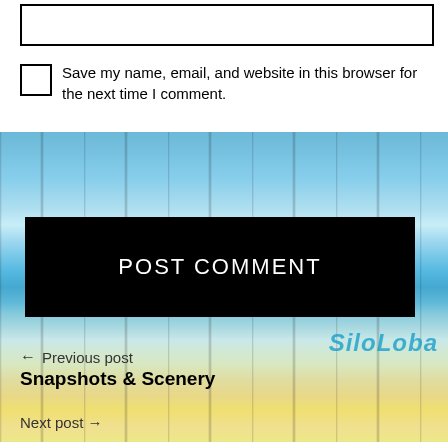[Figure (other): Empty text input box with black border]
Save my name, email, and website in this browser for the next time I comment.
[Figure (photo): Beach scene with palm tree, turquoise water, snowy mountains in background, sandy beach, with vertical wood plank texture overlay. SnoLoba logo visible in lower right.]
POST COMMENT
← Previous post
Snapshots & Scenery
Next post →